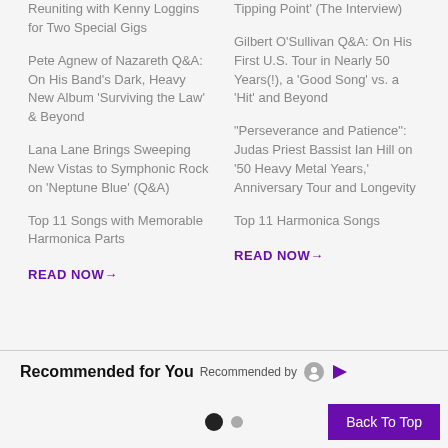Reuniting with Kenny Loggins for Two Special Gigs
Pete Agnew of Nazareth Q&A: On His Band's Dark, Heavy New Album 'Surviving the Law' & Beyond
Lana Lane Brings Sweeping New Vistas to Symphonic Rock on 'Neptune Blue' (Q&A)
Top 11 Songs with Memorable Harmonica Parts
READ NOW→
Tipping Point' (The Interview)
Gilbert O'Sullivan Q&A: On His First U.S. Tour in Nearly 50 Years(!), a 'Good Song' vs. a 'Hit' and Beyond
“Perseverance and Patience”: Judas Priest Bassist Ian Hill on '50 Heavy Metal Years,' Anniversary Tour and Longevity
Top 11 Harmonica Songs
READ NOW→
Recommended for You
Recommended by
Back To Top